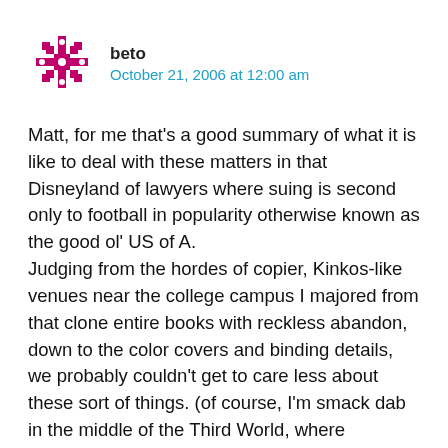[Figure (illustration): User avatar: a pink/magenta geometric snowflake-like decorative pattern on white background]
beto
October 21, 2006 at 12:00 am
Matt, for me that’s a good summary of what it is like to deal with these matters in that Disneyland of lawyers where suing is second only to football in popularity otherwise known as the good ol’ US of A.
Judging from the hordes of copier, Kinkos-like venues near the college campus I majored from that clone entire books with reckless abandon, down to the color covers and binding details, we probably couldn’t get to care less about these sort of things. (of course, I’m smack dab in the middle of the Third World, where copyright